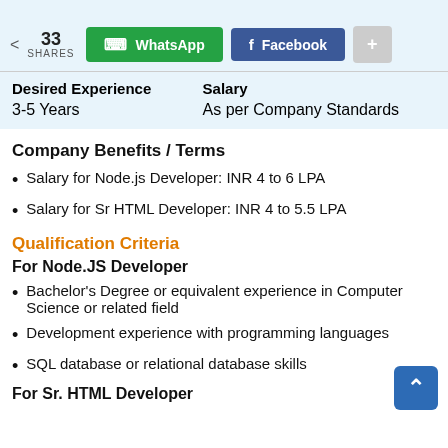33 SHARES  WhatsApp  Facebook  +
| Desired Experience | Salary |
| --- | --- |
| 3-5 Years | As per Company Standards |
Company Benefits / Terms
Salary for Node.js Developer: INR 4 to 6 LPA
Salary for Sr HTML Developer: INR 4 to 5.5 LPA
Qualification Criteria
For Node.JS Developer
Bachelor's Degree or equivalent experience in Computer Science or related field
Development experience with programming languages
SQL database or relational database skills
For Sr. HTML Developer